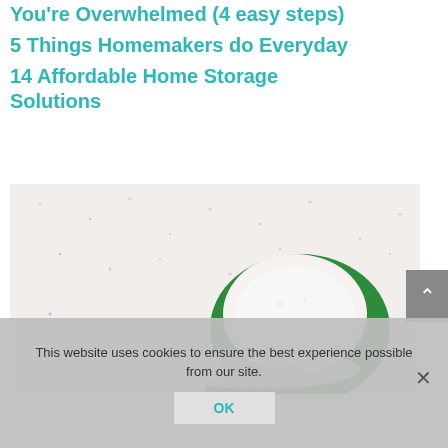You're Overwhelmed (4 easy steps)
5 Things Homemakers do Everyday
14 Affordable Home Storage Solutions
[Figure (photo): Close-up photo of white laundry detergent powder spilled from a green plastic scoop on a white surface with small colored speckles]
This website uses cookies to ensure the best experience possible from our site.
OK